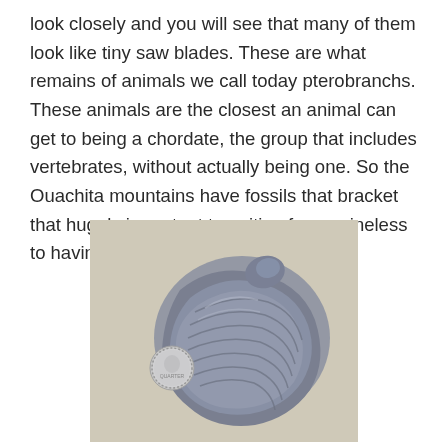look closely and you will see that many of them look like tiny saw blades. These are what remains of animals we call today pterobranchs. These animals are the closest an animal can get to being a chordate, the group that includes vertebrates, without actually being one. So the Ouachita mountains have fossils that bracket that hugely important transition from spineless to having a backbone.
[Figure (photo): A large fossil shell (appears to be an oyster or brachiopod fossil) photographed on a beige/tan background, with a small coin placed beside it for scale. The shell is large, grey-blue with layered ridges, and the coin is a US quarter.]